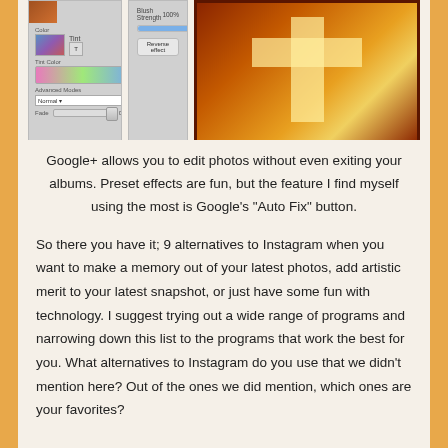[Figure (screenshot): Screenshot of a photo editing panel showing Color, Tint, Tint Color gradient bar, Advanced Modes dropdown set to Normal, and Fade slider at 0%]
[Figure (screenshot): Screenshot of Blush Strength at 100% with a Reverse effect button]
[Figure (photo): A sepia/orange-tinted photo showing a cross shape in light tones against a dark textured background]
Google+ allows you to edit photos without even exiting your albums. Preset effects are fun, but the feature I find myself using the most is Google's “Auto Fix” button.
So there you have it; 9 alternatives to Instagram when you want to make a memory out of your latest photos, add artistic merit to your latest snapshot, or just have some fun with technology. I suggest trying out a wide range of programs and narrowing down this list to the programs that work the best for you. What alternatives to Instagram do you use that we didn’t mention here? Out of the ones we did mention, which ones are your favorites?